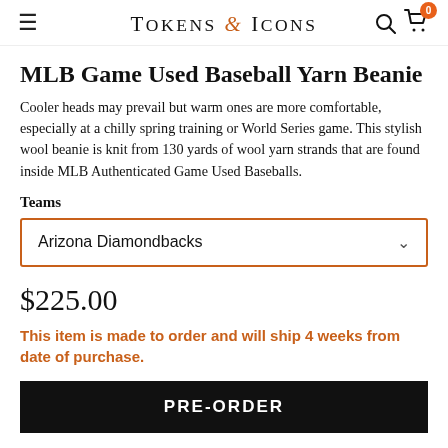Tokens & Icons
MLB Game Used Baseball Yarn Beanie
Cooler heads may prevail but warm ones are more comfortable, especially at a chilly spring training or World Series game. This stylish wool beanie is knit from 130 yards of wool yarn strands that are found inside MLB Authenticated Game Used Baseballs.
Teams
Arizona Diamondbacks
$225.00
This item is made to order and will ship 4 weeks from date of purchase.
PRE-ORDER